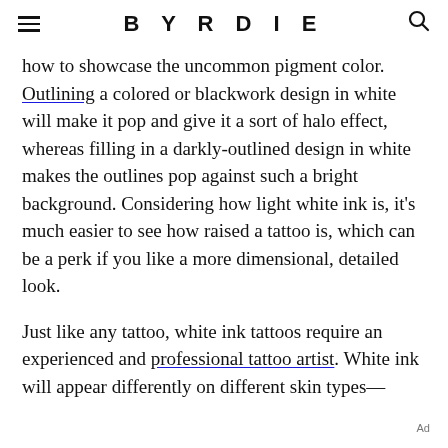BYRDIE
how to showcase the uncommon pigment color. Outlining a colored or blackwork design in white will make it pop and give it a sort of halo effect, whereas filling in a darkly-outlined design in white makes the outlines pop against such a bright background. Considering how light white ink is, it's much easier to see how raised a tattoo is, which can be a perk if you like a more dimensional, detailed look.
Just like any tattoo, white ink tattoos require an experienced and professional tattoo artist. White ink will appear differently on different skin types—
Ad